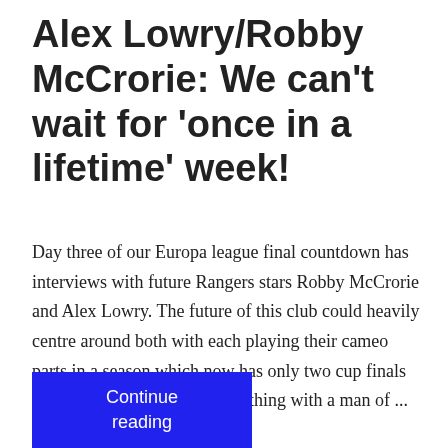Alex Lowry/Robby McCrorie: We can't wait for 'once in a lifetime' week!
Day three of our Europa league final countdown has interviews with future Rangers stars Robby McCrorie and Alex Lowry. The future of this club could heavily centre around both with each playing their cameo parts in a season which now has only two cup finals left. Robby started this whole thing with a man of ...
Continue reading